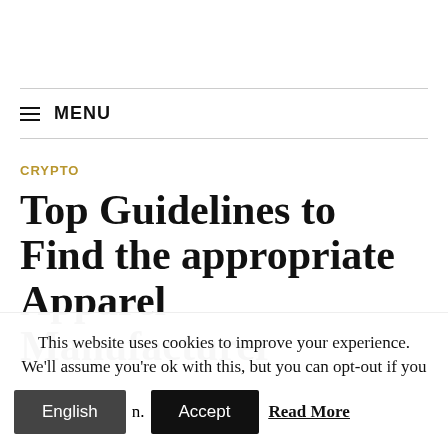≡ MENU
CRYPTO
Top Guidelines to Find the appropriate Apparel Manufacturer
This website uses cookies to improve your experience. We'll assume you're ok with this, but you can opt-out if you wish.
English  Accept  Read More